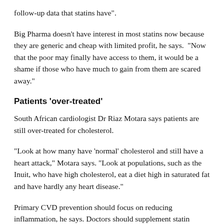follow-up data that statins have”.
Big Pharma doesn’t have interest in most statins now because they are generic and cheap with limited profit, he says. “Now that the poor may finally have access to them, it would be a shame if those who have much to gain from them are scared away.”
Patients ‘over-treated’
South African cardiologist Dr Riaz Motara says patients are still over-treated for cholesterol.
“Look at how many have ‘normal’ cholesterol and still have a heart attack,” Motara says. “Look at populations, such as the Inuit, who have high cholesterol, eat a diet high in saturated fat and have hardly any heart disease.”
Primary CVD prevention should focus on reducing inflammation, he says. Doctors should supplement statin